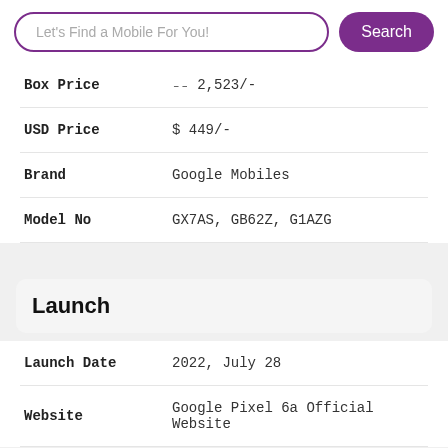| Field | Value |
| --- | --- |
| Box Price | ₨ 2,523/- |
| USD Price | $ 449/- |
| Brand | Google Mobiles |
| Model No | GX7AS, GB62Z, G1AZG |
Launch
| Field | Value |
| --- | --- |
| Launch Date | 2022, July 28 |
| Website | Google Pixel 6a Official Website |